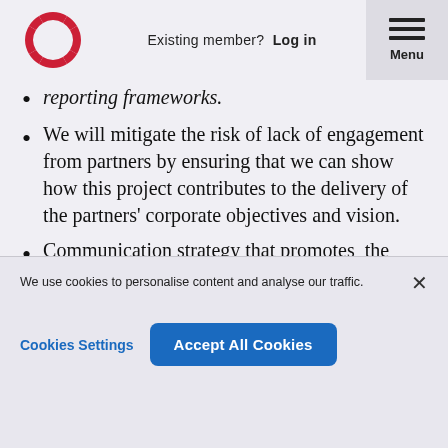Existing member? Log in | Menu
reporting frameworks.
We will mitigate the risk of lack of engagement from partners by ensuring that we can show how this project contributes to the delivery of the partners' corporate objectives and vision.
Communication strategy that promotes the message that Quality is not an isolated
We use cookies to personalise content and analyse our traffic.
Cookies Settings   Accept All Cookies